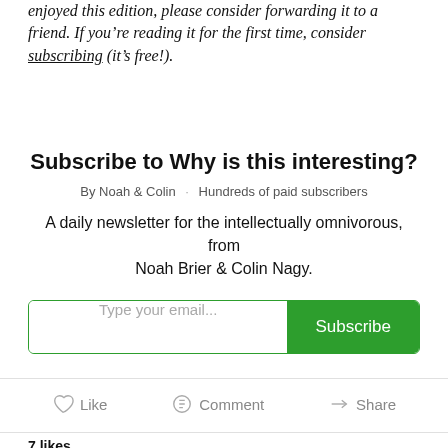enjoyed this edition, please consider forwarding it to a friend. If you’re reading it for the first time, consider subscribing (it’s free!).
Subscribe to Why is this interesting?
By Noah & Colin · Hundreds of paid subscribers
A daily newsletter for the intellectually omnivorous, from Noah Brier & Colin Nagy.
Type your email... Subscribe
Like   Comment   Share
7 likes